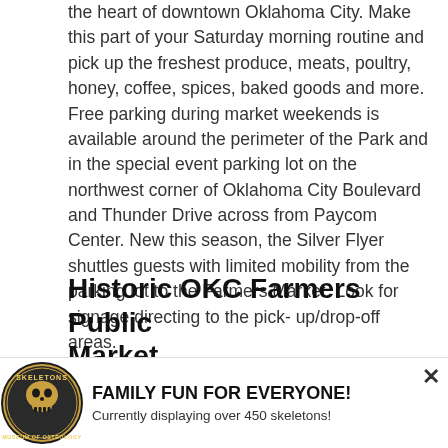the heart of downtown Oklahoma City. Make this part of your Saturday morning routine and pick up the freshest produce, meats, poultry, honey, coffee, spices, baked goods and more. Free parking during market weekends is available around the perimeter of the Park and in the special event parking lot on the northwest corner of Oklahoma City Boulevard and Thunder Drive across from Paycom Center. New this season, the Silver Flyer shuttles guests with limited mobility from the parking lot to the Farmers Market. Look for signage directing to the pick-up/drop-off areas.
Historic OKC Farmers Public Market
Open Saturdays from 9 a.m. to 2 p.m., all year round and
[Figure (logo): Skeletons Museum of Osteology logo — circular badge with skeleton imagery and text around the border]
FAMILY FUN FOR EVERYONE! Currently displaying over 450 skeletons!